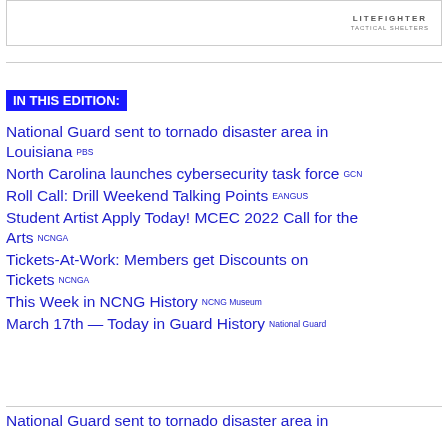[Figure (logo): LiteFighter logo with tagline in top right of banner]
IN THIS EDITION:
National Guard sent to tornado disaster area in Louisiana PBS
North Carolina launches cybersecurity task force GCN
Roll Call: Drill Weekend Talking Points EANGUS
Student Artist Apply Today! MCEC 2022 Call for the Arts NCNGA
Tickets-At-Work: Members get Discounts on Tickets NCNGA
This Week in NCNG History NCNG Museum
March 17th — Today in Guard History National Guard
National Guard sent to tornado disaster area in